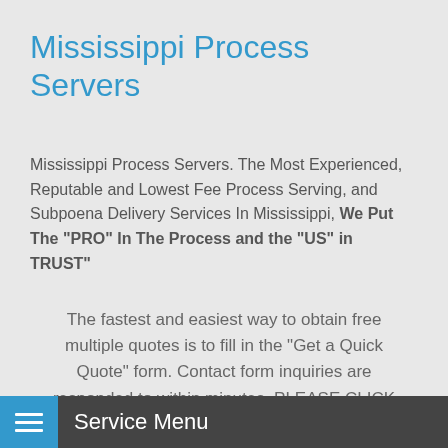Mississippi Process Servers
Mississippi Process Servers. The Most Experienced, Reputable and Lowest Fee Process Serving, and Subpoena Delivery Services In Mississippi, We Put The "PRO" In The Process and the "US" in TRUST"
The fastest and easiest way to obtain free multiple quotes is to fill in the "Get a Quick Quote" form. Contact form inquiries are responded to within minutes. PLEASE CLICK ON THE TAB BELOW
Service Menu